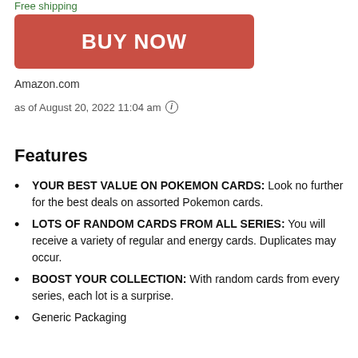Free shipping
BUY NOW
Amazon.com
as of August 20, 2022 11:04 am ⓘ
Features
YOUR BEST VALUE ON POKEMON CARDS: Look no further for the best deals on assorted Pokemon cards.
LOTS OF RANDOM CARDS FROM ALL SERIES: You will receive a variety of regular and energy cards. Duplicates may occur.
BOOST YOUR COLLECTION: With random cards from every series, each lot is a surprise.
Generic Packaging